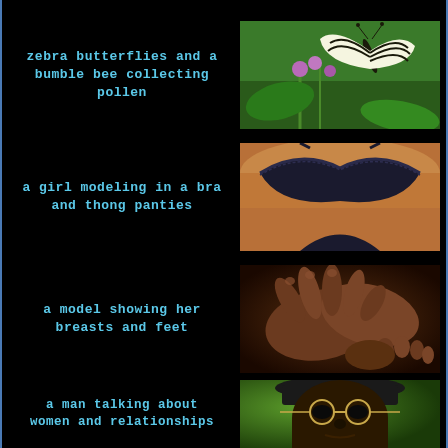zebra butterflies and a bumble bee collecting pollen
[Figure (photo): A zebra butterfly perched on pink flowers with green background]
a girl modeling in a bra and thong panties
[Figure (photo): A close-up of a woman wearing a dark bra and thong]
a model showing her breasts and feet
[Figure (photo): A close-up of hands and feet with dark skin tones]
a man talking about women and relationships
[Figure (photo): A man wearing glasses and a dark hat with green background]